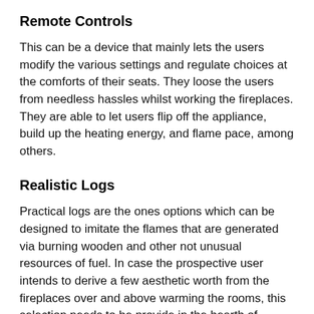Remote Controls
This can be a device that mainly lets the users modify the various settings and regulate choices at the comforts of their seats. They loose the users from needless hassles whilst working the fireplaces. They are able to let users flip off the appliance, build up the heating energy, and flame pace, among others.
Realistic Logs
Practical logs are the ones options which can be designed to imitate the flames that are generated via burning wooden and other not unusual resources of fuel. In case the prospective user intends to derive a few aesthetic worth from the fireplaces over and above warming the rooms, this selection needs to be provide in the hearth of selection.